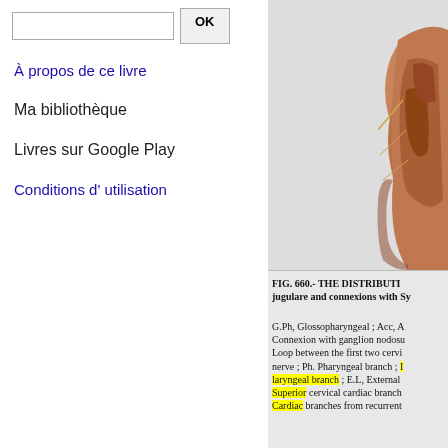À propos de ce livre
Ma bibliothèque
Livres sur Google Play
Conditions d' utilisation
[Figure (illustration): Anatomical illustration showing dissection of neck/head region, partial view of a medical figure labeled FIG. 660]
FIG. 660.- THE DISTRIBUTI... jugulare and connexions with Sy...
G.Ph, Glossopharyngeal ; Acc, A... Connexion with ganglion nodosu... Loop between the first two cervi... nerve ; Ph. Pharyngeal branch ; ... laryngeal branch ; E.L, External... Superior cervical cardiac branch... Cardiac branches from recurrent...